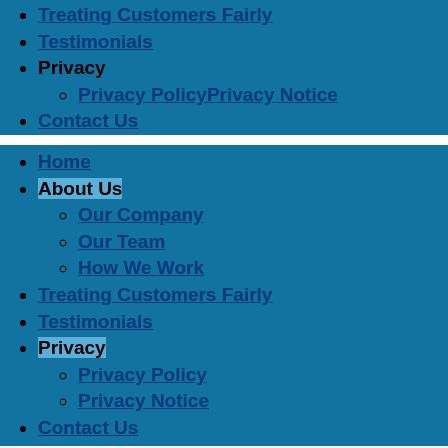Treating Customers Fairly
Testimonials
Privacy
Privacy PolicyPrivacy Notice
Contact Us
Home
About Us
Our Company
Our Team
How We Work
Treating Customers Fairly
Testimonials
Privacy
Privacy Policy
Privacy Notice
Contact Us
Protection
Mortgages
Equity Release
Pensions & Retirement
Savings & Investments
Financial Planning